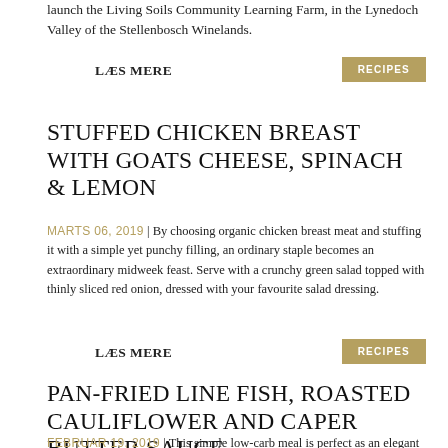launch the Living Soils Community Learning Farm, in the Lynedoch Valley of the Stellenbosch Winelands.
LÆS MERE
RECIPES
STUFFED CHICKEN BREAST WITH GOATS CHEESE, SPINACH & LEMON
MARTS 06, 2019 | By choosing organic chicken breast meat and stuffing it with a simple yet punchy filling, an ordinary staple becomes an extraordinary midweek feast. Serve with a crunchy green salad topped with thinly sliced red onion, dressed with your favourite salad dressing.
LÆS MERE
RECIPES
PAN-FRIED LINE FISH, ROASTED CAULIFLOWER AND CAPER BUTTER SAUCE
FEBRUAR 19, 2019 | This simple low-carb meal is perfect as an elegant